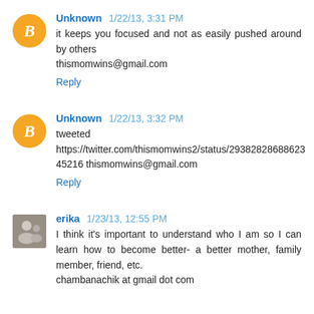Unknown 1/22/13, 3:31 PM
it keeps you focused and not as easily pushed around by others
thismomwins@gmail.com
Reply
Unknown 1/22/13, 3:32 PM
tweeted https://twitter.com/thismomwins2/status/293828268862345216 thismomwins@gmail.com
Reply
erika 1/23/13, 12:55 PM
I think it's important to understand who I am so I can learn how to become better- a better mother, family member, friend, etc.
chambanachik at gmail dot com